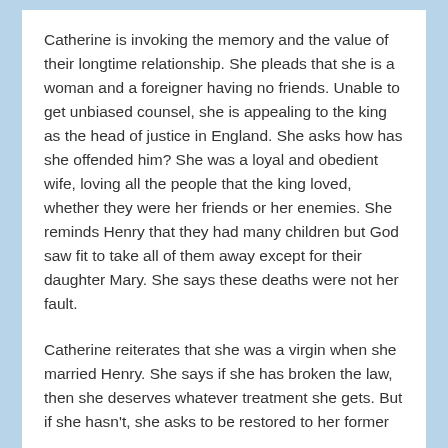Catherine is invoking the memory and the value of their longtime relationship. She pleads that she is a woman and a foreigner having no friends. Unable to get unbiased counsel, she is appealing to the king as the head of justice in England. She asks how has she offended him? She was a loyal and obedient wife, loving all the people that the king loved, whether they were her friends or her enemies. She reminds Henry that they had many children but God saw fit to take all of them away except for their daughter Mary. She says these deaths were not her fault.
Catherine reiterates that she was a virgin when she married Henry. She says if she has broken the law, then she deserves whatever treatment she gets. But if she hasn't, she asks to be restored to her former